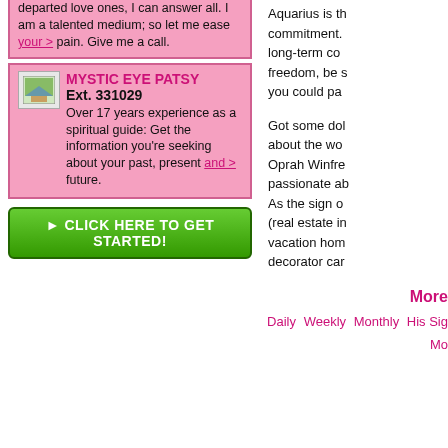departed love ones, I can answer all. I am a talented medium; so let me ease your pain. Give me a call.
MYSTIC EYE PATSY Ext. 331029 Over 17 years experience as a spiritual guide: Get the information you're seeking about your past, present and future.
[Figure (other): Green button: CLICK HERE TO GET STARTED!]
Aquarius is the sign of commitment. long-term co... freedom, be s... you could pa...
Got some dol... about the wo... Oprah Winfre... passionate ab... As the sign o... (real estate in... vacation hom... decorator car...
More
Daily  Weekly  Monthly  His Sig... Mo...